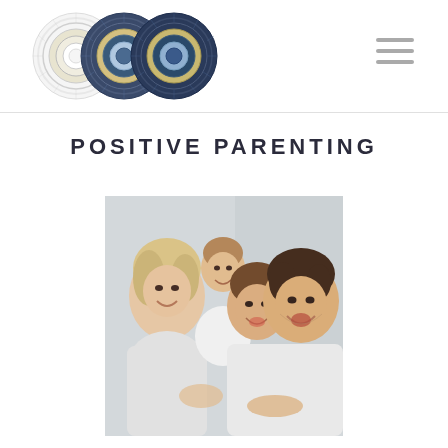[Figure (logo): Three overlapping circular logo marks with concentric ring patterns in white/grey/blue tones]
POSITIVE PARENTING
[Figure (photo): Happy smiling family of four (mother, father, and two young boys) wearing white shirts, posing together and laughing against a light background]